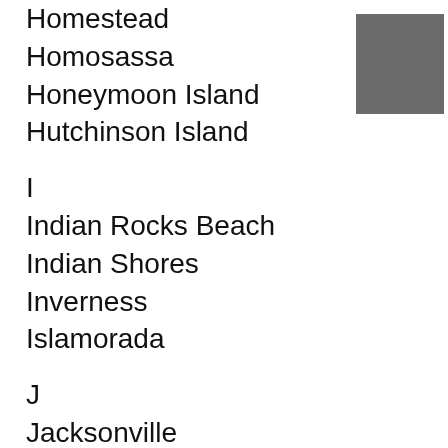Homestead
Homosassa
Honeymoon Island
Hutchinson Island
I
Indian Rocks Beach
Indian Shores
Inverness
Islamorada
J
Jacksonville
Jacksonville Beach
Jensen Beach
Jupiter
K
Key Biscayne
Key Largo